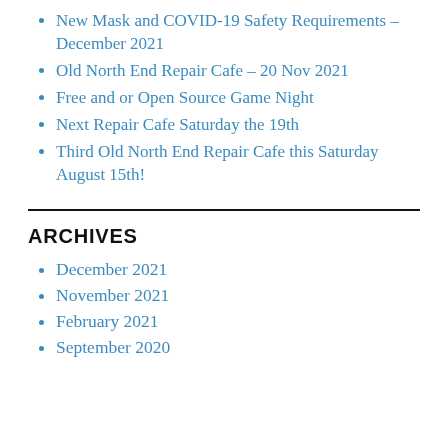New Mask and COVID-19 Safety Requirements – December 2021
Old North End Repair Cafe – 20 Nov 2021
Free and or Open Source Game Night
Next Repair Cafe Saturday the 19th
Third Old North End Repair Cafe this Saturday August 15th!
ARCHIVES
December 2021
November 2021
February 2021
September 2020